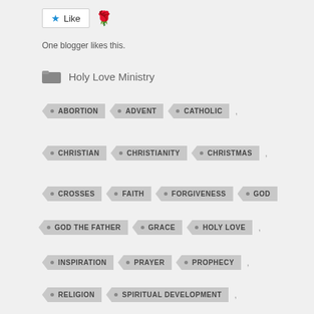[Figure (screenshot): Like button with blue star icon and text 'Like']
One blogger likes this.
Holy Love Ministry
ABORTION, ADVENT, CATHOLIC,
CHRISTIAN, CHRISTIANITY, CHRISTMAS,
CROSSES, FAITH, FORGIVENESS, GOD,
GOD THE FATHER, GRACE, HOLY LOVE,
INSPIRATION, PRAYER, PROPHECY,
RELIGION, SPIRITUAL DEVELOPMENT,
THE HOLY FAMILY